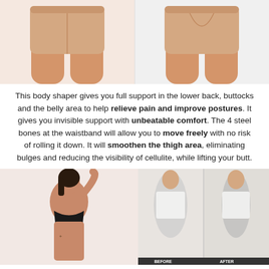[Figure (photo): Two product photos of beige/nude body shaper shorts side by side - front view and back view on a model]
This body shaper gives you full support in the lower back, buttocks and the belly area to help relieve pain and improve postures. It gives you invisible support with unbeatable comfort. The 4 steel bones at the waistband will allow you to move freely with no risk of rolling it down. It will smoothen the thigh area, eliminating bulges and reducing the visibility of cellulite, while lifting your butt.
[Figure (photo): Left: woman in black bra posing with arm raised showing body shaper result. Right: before and after comparison images of woman wearing body shaper shorts showing posture improvement with BEFORE and AFTER labels.]